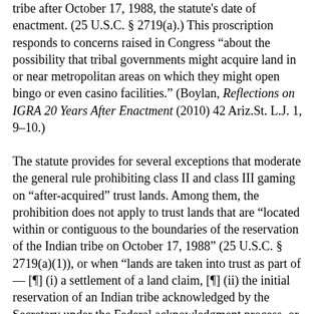tribe after October 17, 1988, the statute's date of enactment. (25 U.S.C. § 2719(a).) This proscription responds to concerns raised in Congress "about the possibility that tribal governments might acquire land in or near metropolitan areas on which they might open bingo or even casino facilities." (Boylan, Reflections on IGRA 20 Years After Enactment (2010) 42 Ariz.St. L.J. 1, 9–10.)
The statute provides for several exceptions that moderate the general rule prohibiting class II and class III gaming on "after-acquired" trust lands. Among them, the prohibition does not apply to trust lands that are "located within or contiguous to the boundaries of the reservation of the Indian tribe on October 17, 1988" (25 U.S.C. § 2719(a)(1)), or when "lands are taken into trust as part of — [¶] (i) a settlement of a land claim, [¶] (ii) the initial reservation of an Indian tribe acknowledged by the Secretary under the Federal acknowledgment process, or [¶] (iii) the restoration of lands for an Indian tribe that is restored to Federal recognition" (id., § 2719(b)(1)(B); see also 25 C.F.R. §§ 292.3–292.12 (2020)). These exceptions have been described as either "so obvious